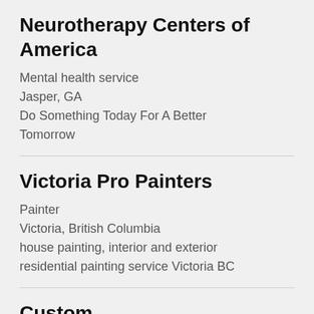Neurotherapy Centers of America
Mental health service
Jasper, GA
Do Something Today For A Better Tomorrow
Victoria Pro Painters
Painter
Victoria, British Columbia
house painting, interior and exterior residential painting service Victoria BC
Custom...